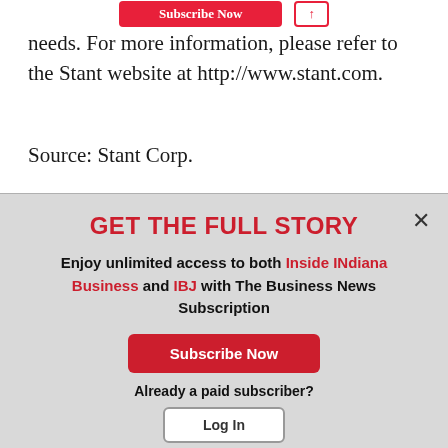needs. For more information, please refer to the Stant website at http://www.stant.com.
Source: Stant Corp.
GET THE FULL STORY
Enjoy unlimited access to both Inside INdiana Business and IBJ with The Business News Subscription
Subscribe Now
Already a paid subscriber?
Log In